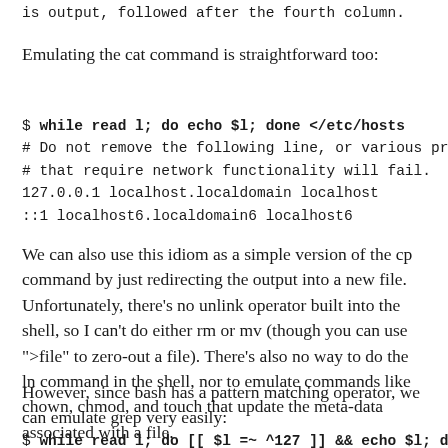is output, followed after the fourth column.
Emulating the cat command is straightforward too:
$ while read l; do echo $l; done </etc/hosts
# Do not remove the following line, or various programs
# that require network functionality will fail.
127.0.0.1 localhost.localdomain localhost
::1 localhost6.localdomain6 localhost6
We can also use this idiom as a simple version of the cp command by just redirecting the output into a new file. Unfortunately, there's no unlink operator built into the shell, so I can't do either rm or mv (though you can use ">file" to zero-out a file). There's also no way to do the ln command in the shell, nor to emulate commands like chown, chmod, and touch that update the meta-data associated with a file.
However, since bash has a pattern matching operator, we can emulate grep very easily:
$ while read l; do [[ $l =~ ^127 ]] && echo $l; done </et